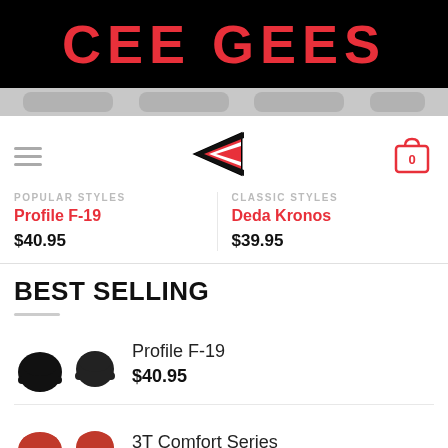CEE GEES
[Figure (screenshot): Navigation icon row with pill-shaped grey buttons]
[Figure (logo): Left-pointing arrow logo for Cee Gees]
[Figure (other): Shopping cart icon with 0 badge]
POPULAR STYLES
CLASSIC STYLES
Profile F-19
$40.95
Deda Kronos
$39.95
BEST SELLING
Profile F-19
$40.95
3T Comfort Series